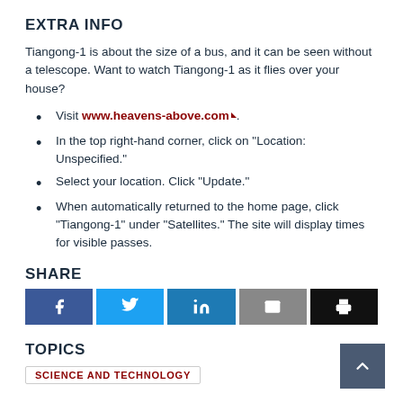EXTRA INFO
Tiangong-1 is about the size of a bus, and it can be seen without a telescope. Want to watch Tiangong-1 as it flies over your house?
Visit www.heavens-above.com.
In the top right-hand corner, click on "Location: Unspecified."
Select your location. Click "Update."
When automatically returned to the home page, click "Tiangong-1" under "Satellites." The site will display times for visible passes.
SHARE
[Figure (infographic): Share buttons for Facebook, Twitter, LinkedIn, Email, and Print]
TOPICS
SCIENCE AND TECHNOLOGY